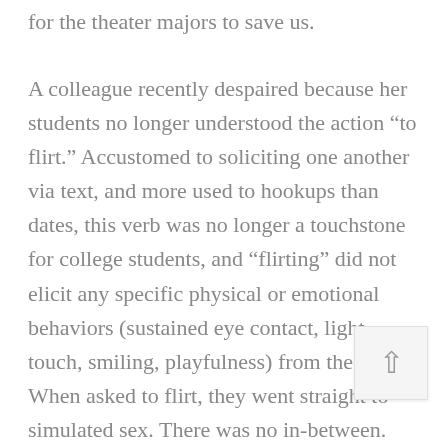for the theater majors to save us.
A colleague recently despaired because her students no longer understood the action “to flirt.” Accustomed to soliciting one another via text, and more used to hookups than dates, this verb was no longer a touchstone for college students, and “flirting” did not elicit any specific physical or emotional behaviors (sustained eye contact, light touch, smiling, playfulness) from the actors. When asked to flirt, they went straight to simulated sex. There was no in-between. Bottom line: Even